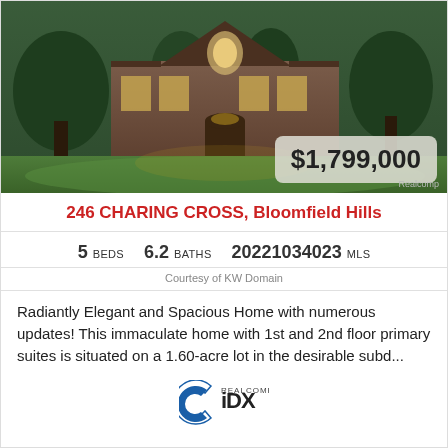[Figure (photo): Exterior photo of a large brick house with manicured lawn, trees, and curved driveway at dusk. Price overlay shows $1,799,000 with Realcomp credit.]
246 CHARING CROSS, Bloomfield Hills
5 BEDS   6.2 BATHS   20221034023 MLS
Courtesy of KW Domain
Radiantly Elegant and Spacious Home with numerous updates! This immaculate home with 1st and 2nd floor primary suites is situated on a 1.60-acre lot in the desirable subd...
[Figure (logo): Realcomp IDX logo]